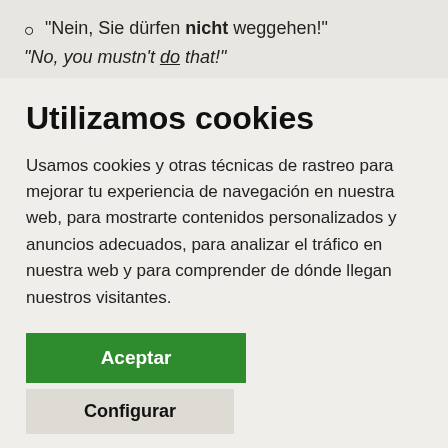"Nein, Sie dürfen nicht weggehen!"
"No, you mustn't do that!"
Utilizamos cookies
Usamos cookies y otras técnicas de rastreo para mejorar tu experiencia de navegación en nuestra web, para mostrarte contenidos personalizados y anuncios adecuados, para analizar el tráfico en nuestra web y para comprender de dónde llegan nuestros visitantes.
Aceptar
Configurar